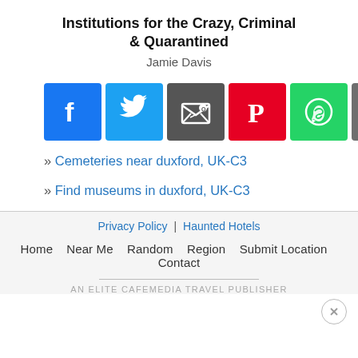Institutions for the Crazy, Criminal & Quarantined
Jamie Davis
[Figure (infographic): Row of 10 social media share buttons: Facebook, Twitter, Email, Pinterest, WhatsApp, Print, Gmail, LinkedIn, Google+, More]
» Cemeteries near duxford, UK-C3
» Find museums in duxford, UK-C3
Privacy Policy | Haunted Hotels
Home  Near Me  Random  Region  Submit Location  Contact
AN ELITE CAFEMEDIA TRAVEL PUBLISHER